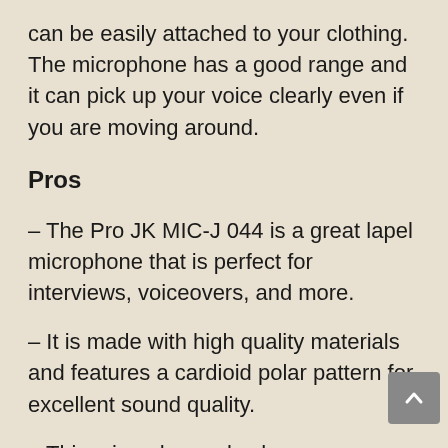can be easily attached to your clothing. The microphone has a good range and it can pick up your voice clearly even if you are moving around.
Pros
– The Pro JK MIC-J 044 is a great lapel microphone that is perfect for interviews, voiceovers, and more.
– It is made with high quality materials and features a cardioid polar pattern for excellent sound quality.
– This microphone also has an impedance of 200 ohms, which ensures clear and accurate sound reproduction.